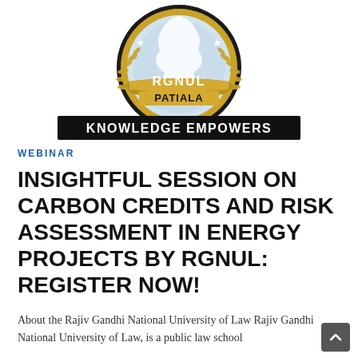[Figure (logo): RGNUL Patiala circular logo with 'KNOWLEDGE EMPOWERS' banner. Shows a circular emblem with black outer ring, gold wheat/laurel branches, two stars, a white silhouette map of India on light blue background, and a gold ribbon banner reading 'RGNUL PATIALA'. Below is a black rectangular banner with white bold text 'KNOWLEDGE EMPOWERS'.]
WEBINAR
INSIGHTFUL SESSION ON CARBON CREDITS AND RISK ASSESSMENT IN ENERGY PROJECTS BY RGNUL: REGISTER NOW!
About the Rajiv Gandhi National University of Law Rajiv Gandhi National University of Law, is a public law school